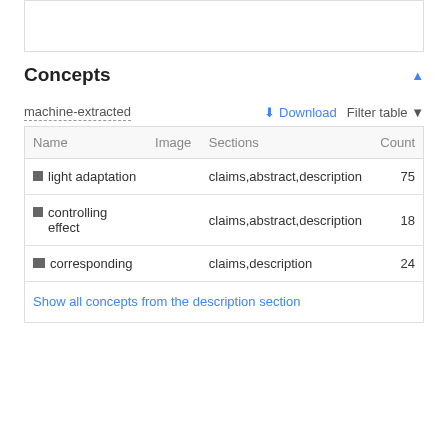Concepts
machine-extracted
| Name | Image | Sections | Count |
| --- | --- | --- | --- |
| ■ light adaptation |  | claims,abstract,description | 75 |
| ■ controlling effect |  | claims,abstract,description | 18 |
| ■ corresponding |  | claims,description | 24 |
Show all concepts from the description section